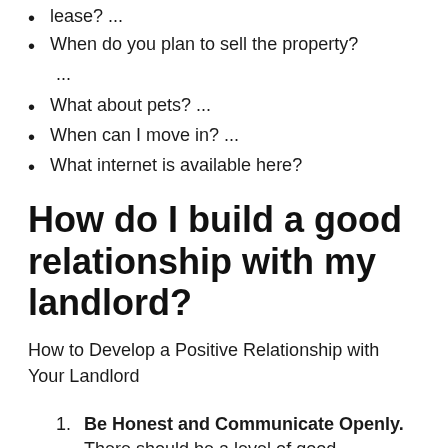lease? ...
When do you plan to sell the property? ...
What about pets? ...
When can I move in? ...
What internet is available here?
How do I build a good relationship with my landlord?
How to Develop a Positive Relationship with Your Landlord
Be Honest and Communicate Openly. There should be a level of good communication on both the landlords and tenants part.